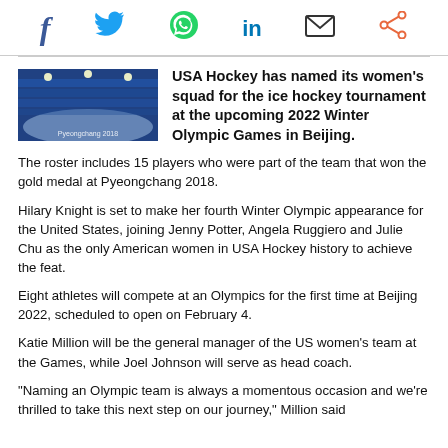Social share icons: Facebook, Twitter, WhatsApp, LinkedIn, Email, Share
[Figure (photo): Ice hockey arena interior, blue-lit stadium seating, Pyeongchang 2018 venue]
USA Hockey has named its women's squad for the ice hockey tournament at the upcoming 2022 Winter Olympic Games in Beijing.
The roster includes 15 players who were part of the team that won the gold medal at Pyeongchang 2018.
Hilary Knight is set to make her fourth Winter Olympic appearance for the United States, joining Jenny Potter, Angela Ruggiero and Julie Chu as the only American women in USA Hockey history to achieve the feat.
Eight athletes will compete at an Olympics for the first time at Beijing 2022, scheduled to open on February 4.
Katie Million will be the general manager of the US women's team at the Games, while Joel Johnson will serve as head coach.
"Naming an Olympic team is always a momentous occasion and we're thrilled to take this next step on our journey," Million said